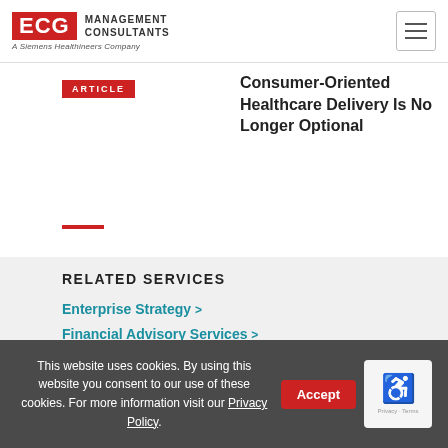ECG Management Consultants - A Siemens Healthineers Company
[Figure (logo): ECG Management Consultants logo with red box containing ECG text, and subtitle A Siemens Healthineers Company]
ARTICLE
Consumer-Oriented Healthcare Delivery Is No Longer Optional
RELATED SERVICES
Enterprise Strategy >
Financial Advisory Services >
Physician Alignment & Network Development >
Performance Transformation >
This website uses cookies. By using this website you consent to our use of these cookies. For more information visit our Privacy Policy.